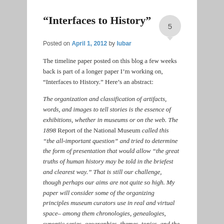“Interfaces to History”
Posted on April 1, 2012 by lubar
The timeline paper posted on this blog a few weeks back is part of a longer paper I’m working on, “Interfaces to History.” Here’s an abstract:
The organization and classification of artifacts, words, and images to tell stories is the essence of exhibitions, whether in museums or on the web. The 1898 Report of the National Museum called this “the all-important question” and tried to determine the form of presentation that would allow “the great truths of human history may be told in the briefest and clearest way.” That is still our challenge, though perhaps our aims are not quite so high. My paper will consider some of the organizing principles museum curators use in real and virtual space– among them chronologies, genealogies, synoptic series, geographies, themes, topics, and the newest, the search – and the assumptions that underline them. The museum or website is